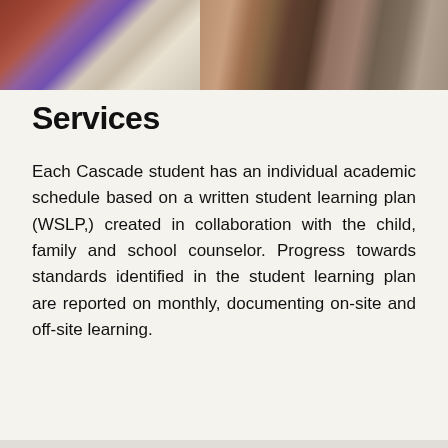[Figure (photo): Photo strip at top of page showing children and colorful patterned textiles/quilts in the background]
Services
Each Cascade student has an individual academic schedule based on a written student learning plan (WSLP,) created in collaboration with the child, family and school counselor. Progress towards standards identified in the student learning plan are reported on monthly, documenting on-site and off-site learning.